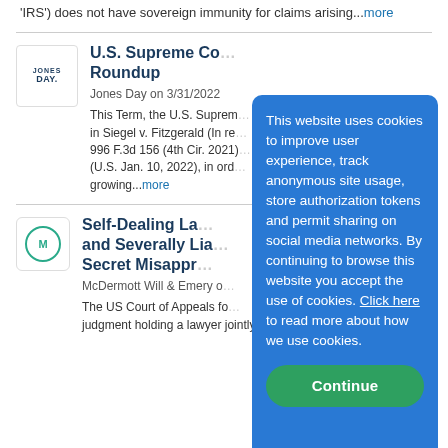'IRS') does not have sovereign immunity for claims arising...more
[Figure (logo): Jones Day law firm logo]
U.S. Supreme Court Roundup
Jones Day on 3/31/2022
This Term, the U.S. Supreme Court granted certiorari in Siegel v. Fitzgerald (In re Circuit City Stores, Inc.), 996 F.3d 156 (4th Cir. 2021), cert. granted (U.S. Jan. 10, 2022), in order to resolve a circuit-growing...more
[Figure (logo): McDermott Will & Emery logo with M circle icon]
Self-Dealing Lawyer Jointly and Severally Liable for Client's Secret Misappropriation
McDermott Will & Emery on
The US Court of Appeals for the Fifth Circuit affirmed a judgment holding a lawyer jointly and severally liable
This website uses cookies to improve user experience, track anonymous site usage, store authorization tokens and permit sharing on social media networks. By continuing to browse this website you accept the use of cookies. Click here to read more about how we use cookies.
Continue